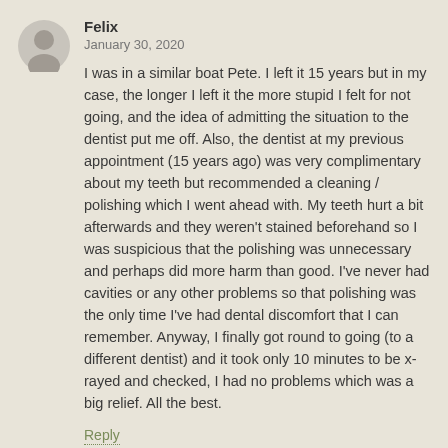Felix
January 30, 2020
I was in a similar boat Pete. I left it 15 years but in my case, the longer I left it the more stupid I felt for not going, and the idea of admitting the situation to the dentist put me off. Also, the dentist at my previous appointment (15 years ago) was very complimentary about my teeth but recommended a cleaning / polishing which I went ahead with. My teeth hurt a bit afterwards and they weren't stained beforehand so I was suspicious that the polishing was unnecessary and perhaps did more harm than good. I've never had cavities or any other problems so that polishing was the only time I've had dental discomfort that I can remember. Anyway, I finally got round to going (to a different dentist) and it took only 10 minutes to be x-rayed and checked, I had no problems which was a big relief. All the best.
Reply
Chaz Vittitow
February 4, 2020